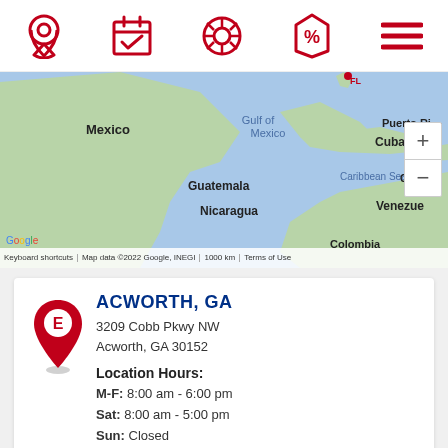[Figure (screenshot): Mobile app navigation bar with 5 red icons: location pin, calendar/appointment, tire/wheel, percent tag, and hamburger menu]
[Figure (map): Google Maps screenshot showing Gulf of Mexico, Mexico, Cuba, Puerto Rico, Guatemala, Nicaragua, Caribbean Sea, Venezuela, Guyana, Colombia region. Zoom +/- controls visible on right side.]
ACWORTH, GA
3209 Cobb Pkwy NW
Acworth, GA 30152
Location Hours:
M-F: 8:00 am - 6:00 pm
Sat: 8:00 am - 5:00 pm
Sun: Closed